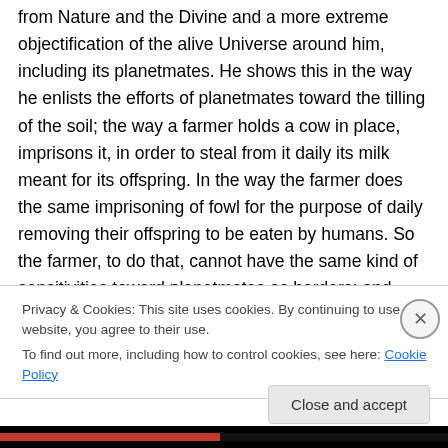from Nature and the Divine and a more extreme objectification of the alive Universe around him, including its planetmates. He shows this in the way he enlists the efforts of planetmates toward the tilling of the soil; the way a farmer holds a cow in place, imprisons it, in order to steal from it daily its milk meant for its offspring. In the way the farmer does the same imprisoning of fowl for the purpose of daily removing their offspring to be eaten by humans. So the farmer, to do that, cannot have the same kind of sensitivities toward planetmates as herders; and earth-tillers must necessarily suppress their natural
Privacy & Cookies: This site uses cookies. By continuing to use this website, you agree to their use.
To find out more, including how to control cookies, see here: Cookie Policy